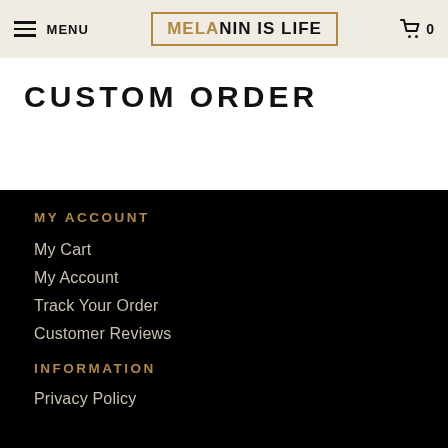MENU | MELANIN IS LIFE | 0
CUSTOM ORDER
MY ACCOUNT
My Cart
My Account
Track Your Order
Customer Reviews
INFORMATION
Privacy Policy